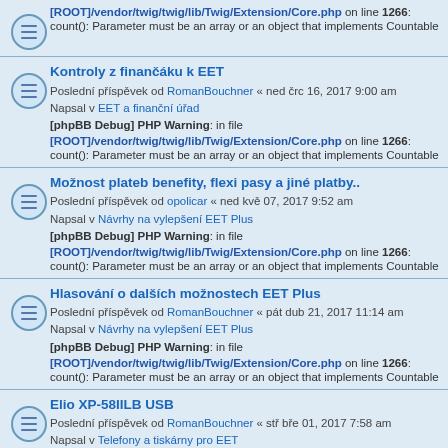[ROOT]/vendor/twig/twig/lib/Twig/Extension/Core.php on line 1266: count(): Parameter must be an array or an object that implements Countable
Kontroly z finančáku k EET
Poslední příspěvek od RomanBouchner « ned črc 16, 2017 9:00 am
Napsal v EET a finanční úřad
[phpBB Debug] PHP Warning: in file [ROOT]/vendor/twig/twig/lib/Twig/Extension/Core.php on line 1266: count(): Parameter must be an array or an object that implements Countable
Možnost plateb benefity, flexi pasy a jiné platby..
Poslední příspěvek od opolicar « ned kvě 07, 2017 9:52 am
Napsal v Návrhy na vylepšení EET Plus
[phpBB Debug] PHP Warning: in file [ROOT]/vendor/twig/twig/lib/Twig/Extension/Core.php on line 1266: count(): Parameter must be an array or an object that implements Countable
Hlasování o dalších možnostech EET Plus
Poslední příspěvek od RomanBouchner « pát dub 21, 2017 11:14 am
Napsal v Návrhy na vylepšení EET Plus
[phpBB Debug] PHP Warning: in file [ROOT]/vendor/twig/twig/lib/Twig/Extension/Core.php on line 1266: count(): Parameter must be an array or an object that implements Countable
Elio XP-58IILB USB
Poslední příspěvek od RomanBouchner « stř bře 01, 2017 7:58 am
Napsal v Telefony a tiskárny pro EET
[phpBB Debug] PHP Warning: in file [ROOT]/vendor/twig/twig/lib/Twig/Extension/Core.php on line 1266: count(): Parameter must be an array or an object that implements Countable
Časté otázky a odpovědi k EET Plus
Poslední příspěvek od RomanBouchner « ned úno 26, 2017 8:44 pm
Napsal v Obecné dotazy a odpovědi k EET